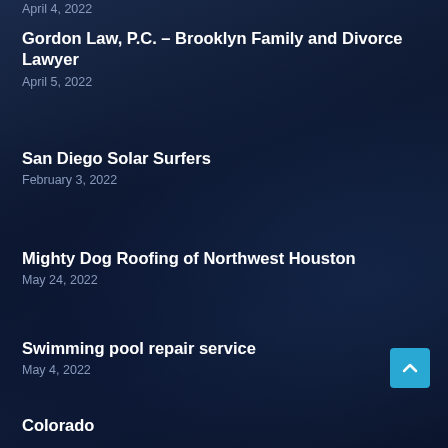April 5, 2022
Gordon Law, P.C. – Brooklyn Family and Divorce Lawyer
April 5, 2022
San Diego Solar Surfers
February 3, 2022
Mighty Dog Roofing of Northwest Houston
May 24, 2022
Swimming pool repair service
May 4, 2022
Colorado
August 19, 2022